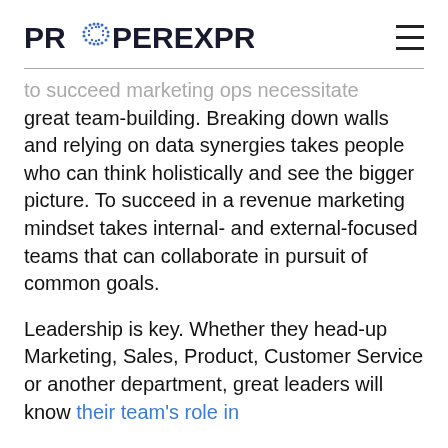PROPEREXPRESSION
to succeed marketing ops necessitate great team-building. Breaking down walls and relying on data synergies takes people who can think holistically and see the bigger picture. To succeed in a revenue marketing mindset takes internal- and external-focused teams that can collaborate in pursuit of common goals.
Leadership is key. Whether they head-up Marketing, Sales, Product, Customer Service or another department, great leaders will know their team's role in